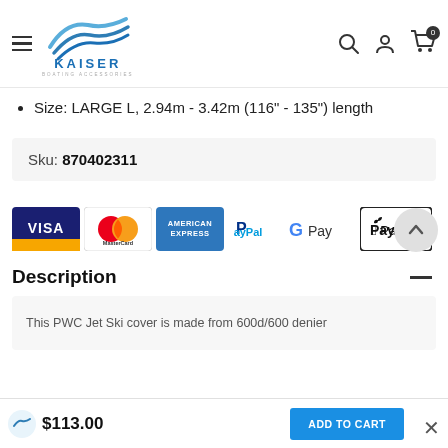[Figure (logo): Kaiser Boating Accessories logo with blue boat/wave icon and text]
Size: LARGE L, 2.94m - 3.42m (116" - 135") length
Sku: 870402311
[Figure (infographic): Payment method logos: Visa, MasterCard, American Express, PayPal, Google Pay, Apple Pay]
Description
This PWC Jet Ski cover is made from 600d/600 denier